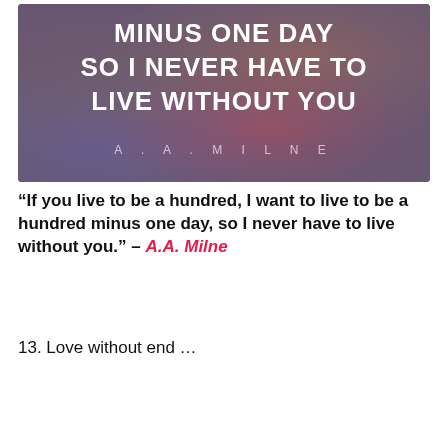[Figure (illustration): Colorful blurred gradient background image with large bold white text reading 'MINUS ONE DAY SO I NEVER HAVE TO LIVE WITHOUT YOU' and spaced letters 'A . A . M I L N E' below]
“If you live to be a hundred, I want to live to be a hundred minus one day, so I never have to live without you.” – A.A. Milne
13. Love without end …